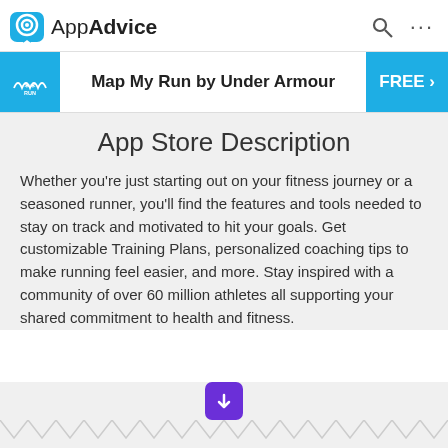AppAdvice
Map My Run by Under Armour   FREE >
App Store Description
Whether you're just starting out on your fitness journey or a seasoned runner, you'll find the features and tools needed to stay on track and motivated to hit your goals. Get customizable Training Plans, personalized coaching tips to make running feel easier, and more. Stay inspired with a community of over 60 million athletes all supporting your shared commitment to health and fitness.
[Figure (other): Purple downward arrow button with zigzag border decoration below]